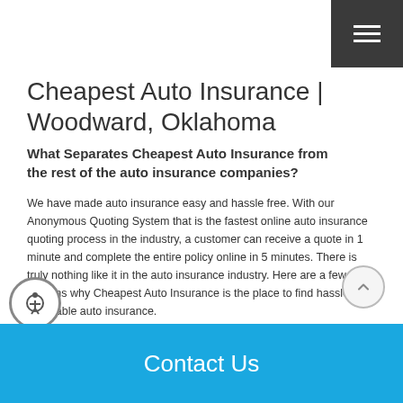Cheapest Auto Insurance | Woodward, Oklahoma
What Separates Cheapest Auto Insurance from the rest of the auto insurance companies?
We have made auto insurance easy and hassle free. With our Anonymous Quoting System that is the fastest online auto insurance quoting process in the industry, a customer can receive a quote in 1 minute and complete the entire policy online in 5 minutes. There is truly nothing like it in the auto insurance industry. Here are a few other reasons why Cheapest Auto Insurance is the place to find hassle free affordable auto insurance.
No Credit Checks
No Middleman Fees
of the art App
Contact Us